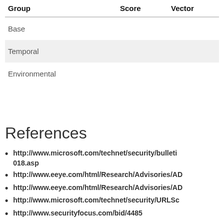| Group | Score | Vector |
| --- | --- | --- |
| Base |  |  |
| Temporal |  |  |
| Environmental |  |  |
References
http://www.microsoft.com/technet/security/bulleti…018.asp
http://www.eeye.com/html/Research/Advisories/AD…
http://www.eeye.com/html/Research/Advisories/AD…
http://www.microsoft.com/technet/security/URLSc…
http://www.securityfocus.com/bid/4485